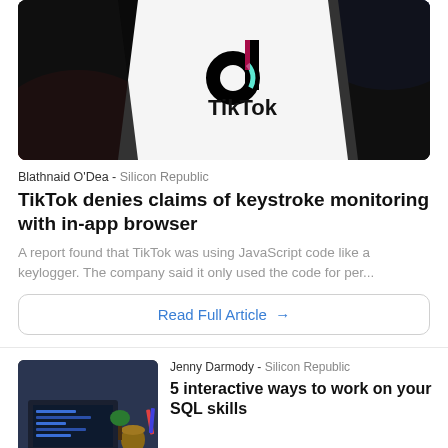[Figure (photo): TikTok logo on a smartphone screen, dark background with red and blue lighting]
Blathnaid O'Dea - Silicon Republic
TikTok denies claims of keystroke monitoring with in-app browser
A report found that TikTok was using JavaScript code like a keylogger. The company said it only used the code for per...
Read Full Article →
Jenny Darmody - Silicon Republic
5 interactive ways to work on your SQL skills